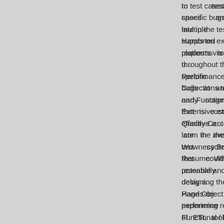to test cases on multiple supported platforms to u... specific bugs at an early stage that is cost effective a... late in the test cycle that could potentially delay a... Hands-on experience of ETL tool and Experience... requests via Soap. Worked with all Agile Developm... throughout the entire project. Responsible for im... Performance center, JMeter based infrastructure. Collections to build the framework. Involved in prepari... and Functional Requirements documents for the r... Extensive experience in Defect Reporting and Def... Quality Center (QC)/ALM, BugZilla and Rational Cl... .com the average salary pf Selenium testers in th... Wowness Book ReportAn Urgent Message Of Wown... Resume: Who is an Automation Test Engineer? reusable and external actions and, called functions... designing the automation frameworks like Data-drive... Page Object Model. Test case creation in Ruby accor... performing regular and regression automation testi... Functional / Manual testing experience in comple... including application servers, data base and mu... knowledge on QTP(Ver.9.5, 10.0), Load Runner (Ve... automation) methodologies. Extensively worked with the entire testing process (Planning Tests, Exec... Tracking). Actively involved in SDLC and STLC like Selenium RC/Web driver, JMeter, SOAP UI. Cu... Testing Engineer in American Banking Group. Exec... test scenarios using Load Runner and analyzed...